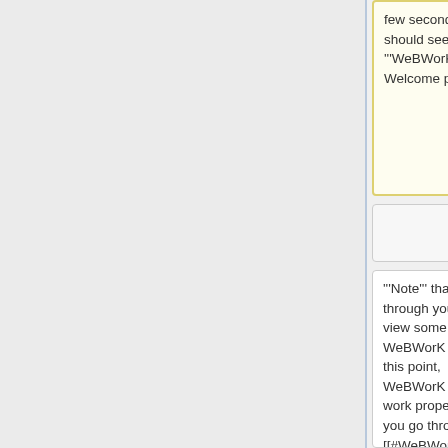few seconds you should see the '''WeBWorK''' Welcome page.
'''Note''' that even through you can view some WeBWorK pages at this point, WeBWorK will not work properly until you go through the [[#WeBWorK configuration|WeBWorK configuration]] above.  At this point you should just continue reading here
'''Note''' that even through you can view some WeBWorK pages at this point, WeBWorK will not work properly until you go through the [[#WeBWorK configuration|WeBWorK configuration]] above.  At this point you should just continue reading here